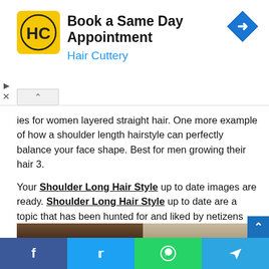[Figure (other): Hair Cuttery advertisement banner with logo, title 'Book a Same Day Appointment', subtitle 'Hair Cuttery', and navigation arrow icon]
ies for women layered straight hair. One more example of how a shoulder length hairstyle can perfectly balance your face shape. Best for men growing their hair 3.

Your Shoulder Long Hair Style up to date images are ready. Shoulder Long Hair Style up to date are a topic that has been hunted for and liked by netizens now. You can Download or bookmark the Shoulder Long Hair Style up to date files here
[Figure (photo): Photo of person with shoulder-length dark hair, split image]
[Figure (other): Social sharing bar with Facebook, Twitter, WhatsApp, and Telegram buttons]